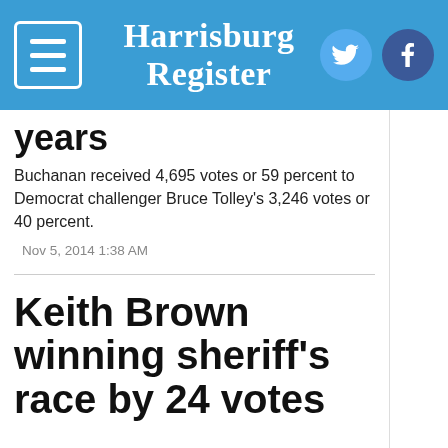Harrisburg Register
years
Buchanan received 4,695 votes or 59 percent to Democrat challenger Bruce Tolley's 3,246 votes or 40 percent.
Nov 5, 2014 1:38 AM
Keith Brown winning sheriff's race by 24 votes